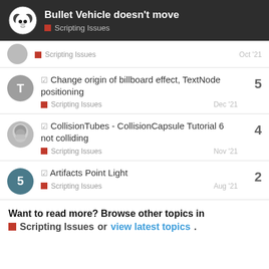Bullet Vehicle doesn't move — Scripting Issues
Scripting Issues — Oct '21
☑ Change origin of billboard effect, TextNode positioning — Scripting Issues — Dec '21 — 5 replies
☑ CollisionTubes - CollisionCapsule Tutorial 6 not colliding — Scripting Issues — Nov '21 — 4 replies
☑ Artifacts Point Light — Scripting Issues — Aug '21 — 2 replies
Want to read more? Browse other topics in
■ Scripting Issues or view latest topics.